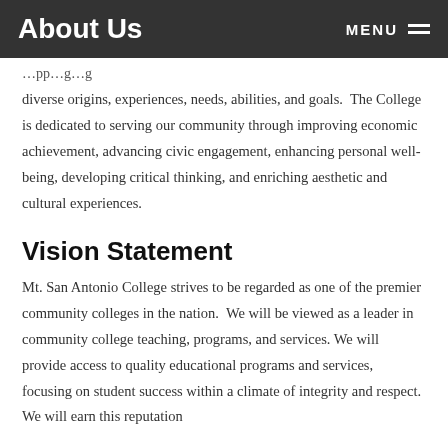About Us | MENU
…pp…g…g diverse origins, experiences, needs, abilities, and goals.  The College is dedicated to serving our community through improving economic achievement, advancing civic engagement, enhancing personal well-being, developing critical thinking, and enriching aesthetic and cultural experiences.
Vision Statement
Mt. San Antonio College strives to be regarded as one of the premier community colleges in the nation.  We will be viewed as a leader in community college teaching, programs, and services. We will provide access to quality educational programs and services, focusing on student success within a climate of integrity and respect. We will earn this reputation…